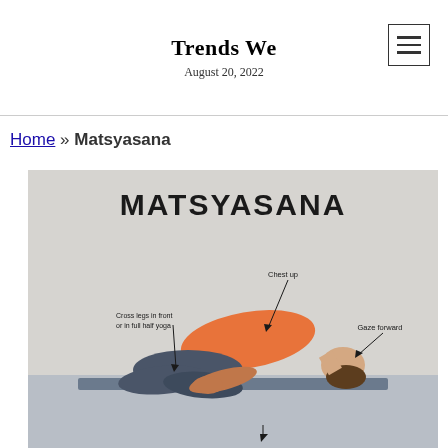Trends We
August 20, 2022
Home » Matsyasana
[Figure (photo): A woman performing the Matsyasana (Fish Pose) yoga posture on a mat. The image is annotated with labels: 'Chest up' pointing to the raised chest, 'Cross legs in front or in full half yoga' pointing to the legs, and 'Gaze forward' pointing to the head/neck area. The title 'MATSYASANA' is displayed at the top of the image in large bold text.]